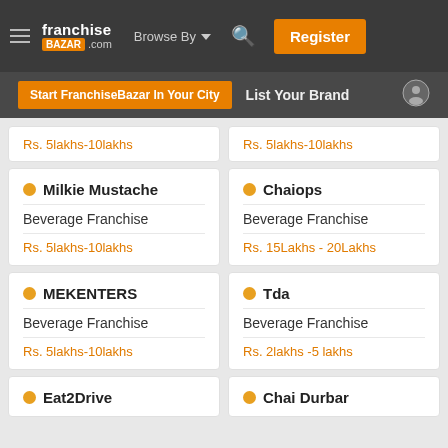franchise BAZAR .com — Browse By — Register
Start FranchiseBazar In Your City  List Your Brand
Rs. 5lakhs-10lakhs
Rs. 5lakhs-10lakhs
Milkie Mustache — Beverage Franchise — Rs. 5lakhs-10lakhs
Chaiops — Beverage Franchise — Rs. 15Lakhs - 20Lakhs
MEKENTERS — Beverage Franchise — Rs. 5lakhs-10lakhs
Tda — Beverage Franchise — Rs. 2lakhs -5 lakhs
Eat2Drive
Chai Durbar